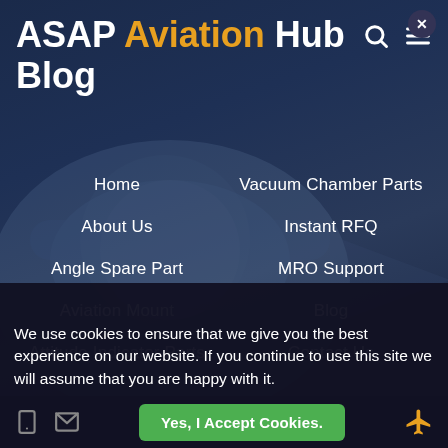ASAP Aviation Hub Blog
Home
Vacuum Chamber Parts
About Us
Instant RFQ
Angle Spare Part
MRO Support
Aviation Mount
Blog
Attitude Indicator Parts
Contact Us
Terms and Conditions
Privacy Policy
Consignment Options
Cookie Policy
We use cookies to ensure that we give you the best experience on our website. If you continue to use this site we will assume that you are happy with it.
Yes, I Accept Cookies.